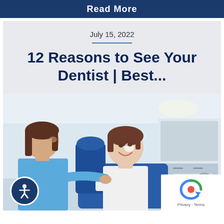Read More
July 15, 2022
12 Reasons to See Your Dentist | Best...
[Figure (photo): A dental hygienist in blue scrubs speaking with a smiling female patient seated in a blue dental chair inside a dental office.]
Privacy · Terms